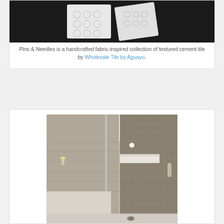[Figure (photo): White textured cement tiles with circular dimple patterns on dark background]
Pins & Needles is a handcrafted fabric-inspired collection of textured cement tile by Wholesale Tile by Aguayo.
[Figure (photo): Modern bathroom with glass shower enclosure, gray subway tile walls, marble bench and floor, recessed lighting]